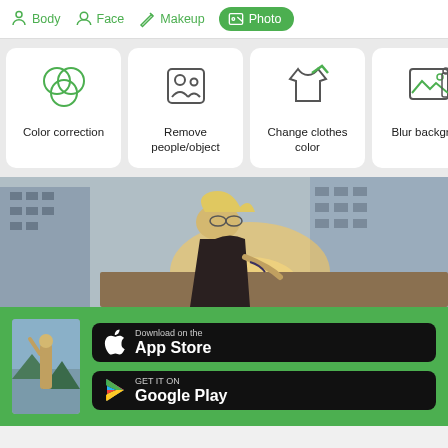Body | Face | Makeup | Photo
[Figure (screenshot): App feature cards: Color correction, Remove people/object, Change clothes color, Blur background]
[Figure (photo): Woman with blonde hair leaning on a concrete ledge with buildings in background, backlit by sun]
[Figure (screenshot): App store download section on green background with thumbnail photo of woman, App Store and Google Play buttons]